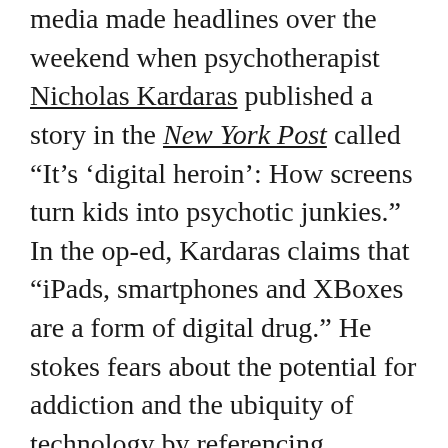media made headlines over the weekend when psychotherapist Nicholas Kardaras published a story in the New York Post called “It’s ‘digital heroin’: How screens turn kids into psychotic junkies.” In the op-ed, Kardaras claims that “iPads, smartphones and XBoxes are a form of digital drug.” He stokes fears about the potential for addiction and the ubiquity of technology by referencing “hundreds of clinical studies” that show “screens increase depression, anxiety and aggression.”